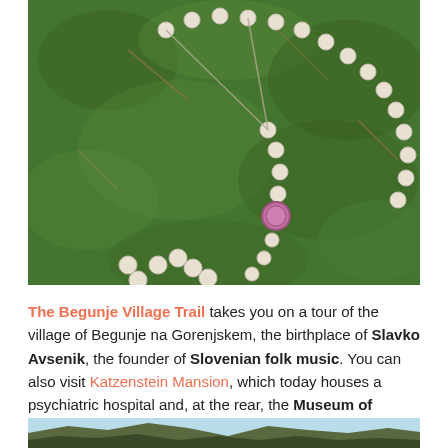[Figure (photo): A rosary with cross and beads laid on green moss/grass ground cover]
The Begunje Village Trail takes you on a tour of the village of Begunje na Gorenjskem, the birthplace of Slavko Avsenik, the founder of Slovenian folk music. You can also visit Katzenstein Mansion, which today houses a psychiatric hospital and, at the rear, the Museum of Hostages.
[Figure (photo): Mountain landscape with forested hills and sky, partial view at bottom of page]